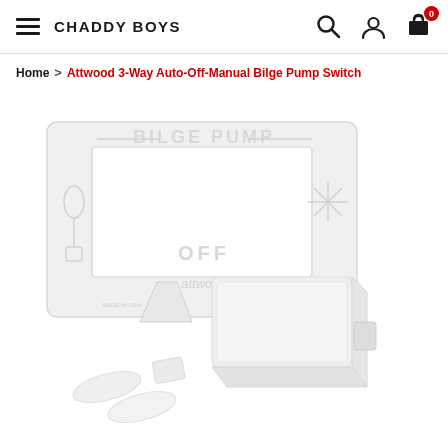CHADDY BOYS
Home > Attwood 3-Way Auto-Off-Manual Bilge Pump Switch
[Figure (photo): Product photo of Attwood 3-Way Auto-Off-Manual Bilge Pump Switch showing a white/light grey bilge pump switch panel labeled BILGE PUMP with AUTO, OFF, MANUAL positions, along with separate switch component and mounting hardware accessories on white background.]